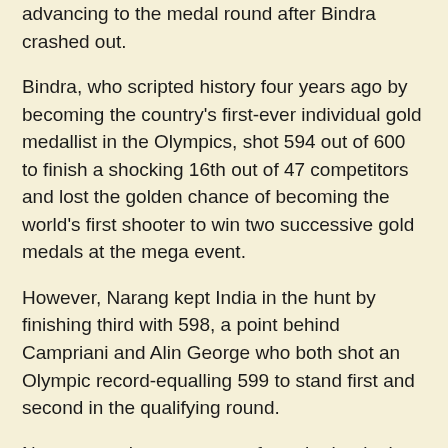advancing to the medal round after Bindra crashed out.
Bindra, who scripted history four years ago by becoming the country's first-ever individual gold medallist in the Olympics, shot 594 out of 600 to finish a shocking 16th out of 47 competitors and lost the golden chance of becoming the world's first shooter to win two successive gold medals at the mega event.
However, Narang kept India in the hunt by finishing third with 598, a point behind Campriani and Alin George who both shot an Olympic record-equalling 599 to stand first and second in the qualifying round.
Narang was bang on target from the beginning, scoring two successive 100s, but a 98 in the third series somewhat let him down.
The 29-year-old Hyderabadi, however, kept his cool